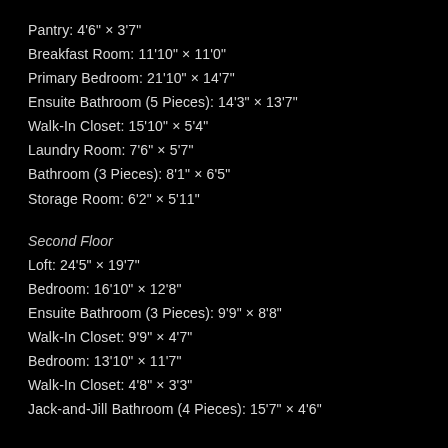Pantry: 4'6" × 3'7"
Breakfast Room: 11'10" × 11'0"
Primary Bedroom: 21'10" × 14'7"
Ensuite Bathroom (5 Pieces): 14'3" × 13'7"
Walk-In Closet: 15'10" × 5'4"
Laundry Room: 7'6" × 5'7"
Bathroom (3 Pieces): 8'1" × 6'5"
Storage Room: 6'2" × 5'11"
Second Floor
Loft: 24'5" × 19'7"
Bedroom: 16'10" × 12'8"
Ensuite Bathroom (3 Pieces): 9'9" × 8'8"
Walk-In Closet: 9'9" × 4'7"
Bedroom: 13'10" × 11'7"
Walk-In Closet: 4'8" × 3'3"
Jack-and-Jill Bathroom (4 Pieces): 15'7" × 4'6"